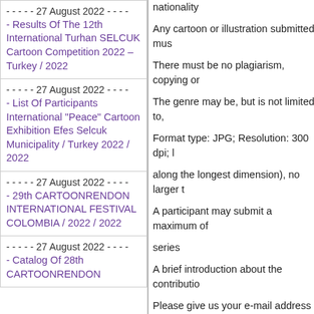- - - - - 27 August 2022 - - - - - Results Of The 12th International Turhan SELCUK Cartoon Competition 2022 – Turkey / 2022
- - - - - 27 August 2022 - - - - - List Of Participants International "Peace" Cartoon Exhibition Efes Selcuk Municipality / Turkey 2022 / 2022
- - - - - 27 August 2022 - - - - - 29th CARTOONRENDON INTERNATIONAL FESTIVAL COLOMBIA / 2022 / 2022
- - - - - 27 August 2022 - - - - - Catalog Of 28th CARTOONRENDON
nationality
Any cartoon or illustration submitted must
There must be no plagiarism, copying or
The genre may be, but is not limited to,
Format type: JPG; Resolution: 300 dpi; l
along the longest dimension), no larger t
A participant may submit a maximum of
series
A brief introduction about the contributio
Please give us your e-mail address and
be any significant developments
-The contribution should be accompanie
specific category or categories when upl
Prizes:
Gold Prize: 1 winner